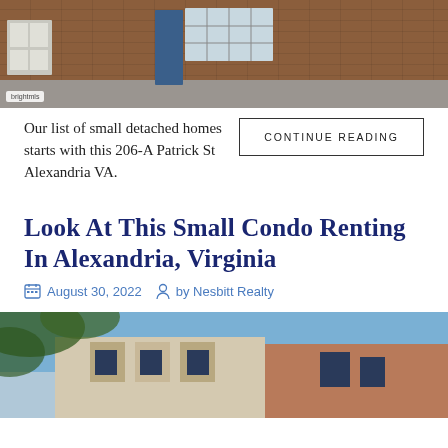[Figure (photo): Exterior photo of a brick townhome/small detached house with a blue front door, glass block windows, and gravel driveway. BrightMLS watermark visible in lower left.]
Our list of small detached homes starts with this 206-A Patrick St Alexandria VA.
CONTINUE READING
Look At This Small Condo Renting In Alexandria, Virginia
August 30, 2022   by Nesbitt Realty
[Figure (photo): Exterior photo of a multi-story apartment/condo building with cream-colored facade and brick accents, viewed partially through tree branches against a blue sky.]